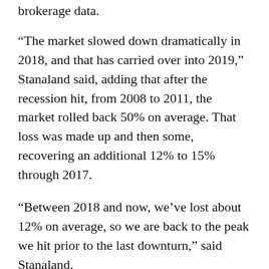brokerage data.
“The market slowed down dramatically in 2018, and that has carried over into 2019,” Stanaland said, adding that after the recession hit, from 2008 to 2011, the market rolled back 50% on average. That loss was made up and then some, recovering an additional 12% to 15% through 2017.
“Between 2018 and now, we’ve lost about 12% on average, so we are back to the peak we hit prior to the last downturn,” said Stanaland.
He expects prices to continue to gradually adjust in the next couple years, though he cautions potential buyers waiting on the sidelines that another major downturn isn’t likely.